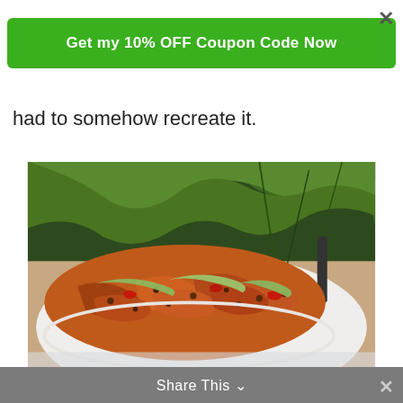×
Get my 10% OFF Coupon Code Now
had to somehow recreate it.
[Figure (photo): A bowl of spiced meat and lentil dish drizzled with green sauce, served with fresh green salad on a white plate.]
Share This ∨
×